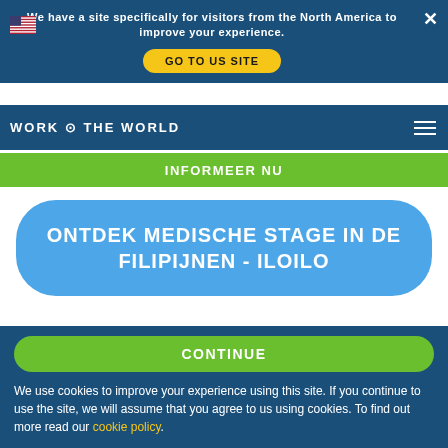We have a site specifically for visitors from the North America to improve your experience.
GO TO US SITE
INFORMEER NU
ONTDEK MEDISCHE STAGE IN DE FILIPIJNEN - ILOILO
SEARCH REVIEWS
CONTINUE
We use cookies to improve your experience using this site. If you continue to use the site, we will assume that you agree to us using cookies. To find out more read our cookie policy.